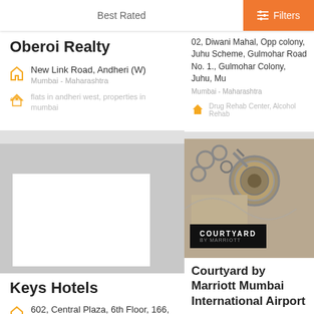[Figure (screenshot): Mobile app search results page showing business listings with Best Rated / Filters top bar, and four listing cards: Oberoi Realty, a partially visible listing with Drug Rehab Center tags, Keys Hotels, and Courtyard by Marriott Mumbai International Airport.]
Best Rated
Filters
Oberoi Realty
New Link Road, Andheri (W)
Mumbai - Maharashtra
flats in andheri west, properties in mumbai
02, Diwani Mahal, Opp colony, Juhu Scheme, Gulmohar Road No. 1., Gulmohar Colony, Juhu, Mu
Mumbai - Maharashtra
Drug Rehab Center, Alcohol Rehab
Keys Hotels
602, Central Plaza, 6th Floor, 166, CST Road, Kalina
Mumbai - Maharashtra
Hotels, BUDGET HOTEL
Courtyard by Marriott Mumbai International Airport
CTS 215, Opposite Carnival Cinemas, Andheri Kurla Road, Andheri East
Mumbai - Maharashtra
Hotel, Accommodation